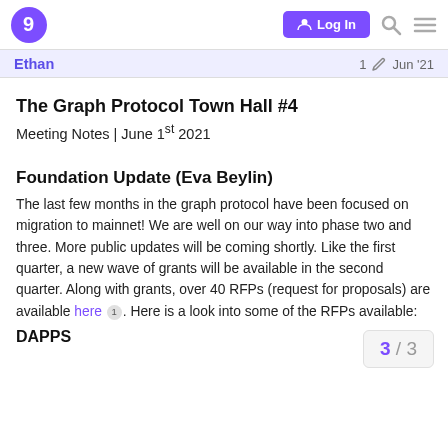Log In [navigation bar with logo, search, and menu]
Ethan   1 [edit]   Jun '21
The Graph Protocol Town Hall #4
Meeting Notes | June 1st 2021
Foundation Update (Eva Beylin)
The last few months in the graph protocol have been focused on migration to mainnet! We are well on our way into phase two and three. More public updates will be coming shortly. Like the first quarter, a new wave of grants will be available in the second quarter. Along with grants, over 40 RFPs (request for proposals) are available here [1]. Here is a look into some of the RFPs available:
DAPPS